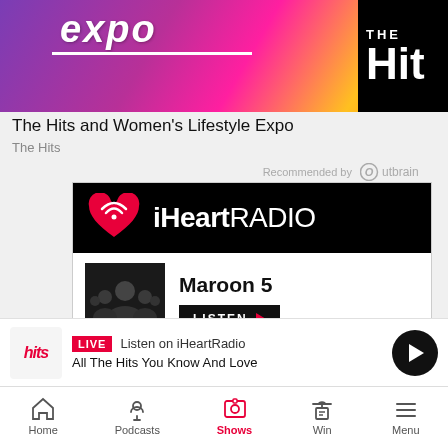[Figure (photo): Top banner image for 'The Hits and Women's Lifestyle Expo' showing colorful purple/pink/yellow gradient with 'expo' text and The Hits logo on right]
The Hits and Women's Lifestyle Expo
The Hits
Recommended by Outbrain
[Figure (infographic): iHeartRadio advertisement block showing Maroon 5 and P!nk artist rows with LISTEN buttons on black background header]
LIVE Listen on iHeartRadio
All The Hits You Know And Love
Home | Podcasts | Shows | Win | Menu